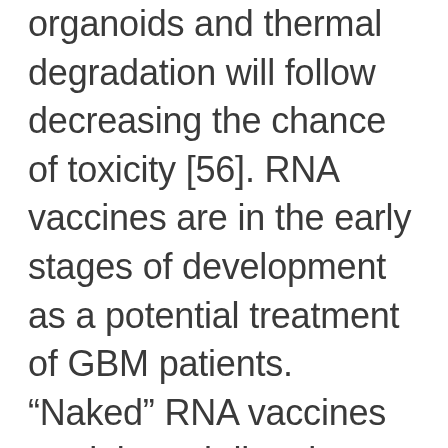organoids and thermal degradation will follow decreasing the chance of toxicity [56]. RNA vaccines are in the early stages of development as a potential treatment of GBM patients. “Naked” RNA vaccines are injected directly, formulated only in buffer without a carrier [58]. These remain limited